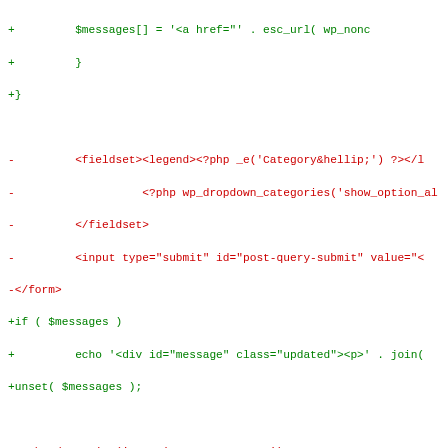[Figure (screenshot): A code diff view showing removed lines (red, prefixed with -) and added lines (green, prefixed with +), with some lines highlighted in red or green backgrounds. The code appears to be PHP/HTML from a WordPress admin page.]